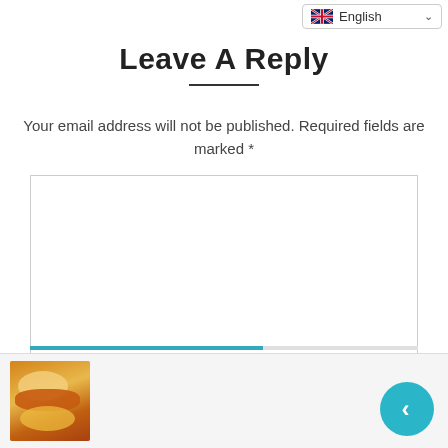[Figure (screenshot): Language selector dropdown showing UK flag and 'English' with chevron]
Leave A Reply
Your email address will not be published. Required fields are marked *
[Figure (screenshot): Empty comment textarea input box]
[Figure (photo): Thumbnail of food dish at bottom left]
[Figure (other): Teal circular back navigation button with left chevron]